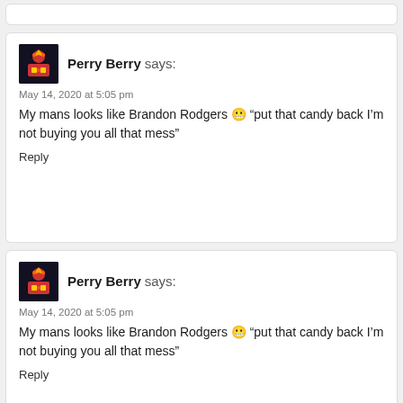Perry Berry says: May 14, 2020 at 5:05 pm My mans looks like Brandon Rodgers 😬 "put that candy back I'm not buying you all that mess" Reply
Perry Berry says: May 14, 2020 at 5:05 pm My mans looks like Brandon Rodgers 😬 "put that candy back I'm not buying you all that mess" Reply